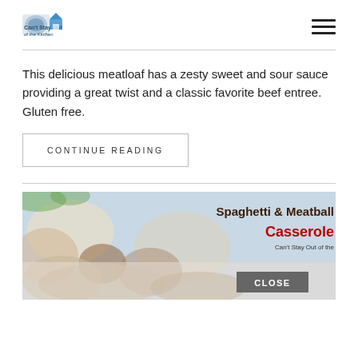[Figure (logo): Can't Stay Out of the Kitchen blog logo with small icon and text]
This delicious meatloaf has a zesty sweet and sour sauce providing a great twist and a classic favorite beef entree. Gluten free.
CONTINUE READING
[Figure (photo): Spaghetti & Meatball Casserole recipe card image with title overlay and CLOSE badge. Shows food photography with meatballs and spaghetti dish. Text reads: Spaghetti & Meatball Casserole, Can't Stay Out of the Kitchen]